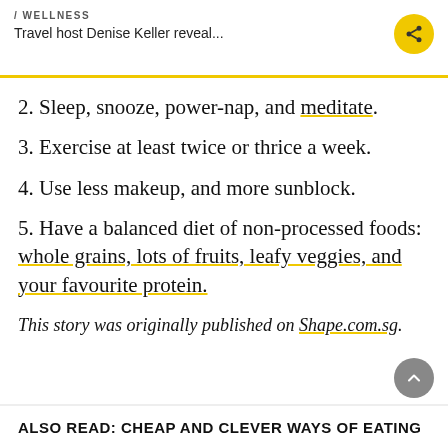/ WELLNESS
Travel host Denise Keller reveal...
2. Sleep, snooze, power-nap, and meditate.
3. Exercise at least twice or thrice a week.
4. Use less makeup, and more sunblock.
5. Have a balanced diet of non-processed foods: whole grains, lots of fruits, leafy veggies, and your favourite protein.
This story was originally published on Shape.com.sg.
ALSO READ: CHEAP AND CLEVER WAYS OF EATING